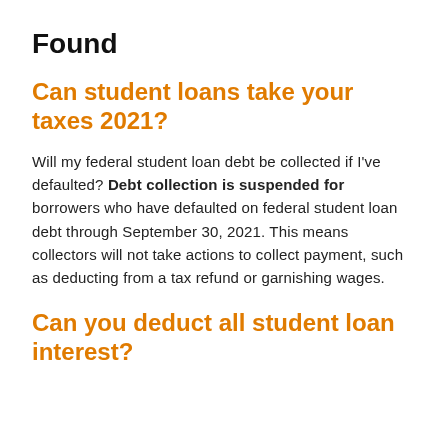Found
Can student loans take your taxes 2021?
Will my federal student loan debt be collected if I've defaulted? Debt collection is suspended for borrowers who have defaulted on federal student loan debt through September 30, 2021. This means collectors will not take actions to collect payment, such as deducting from a tax refund or garnishing wages.
Can you deduct all student loan interest?